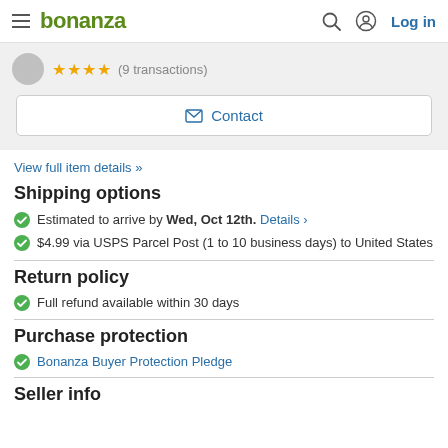bonanza  Log in
★★★★ (9 transactions)
Contact
View full item details »
Shipping options
Estimated to arrive by Wed, Oct 12th. Details >
$4.99 via USPS Parcel Post (1 to 10 business days) to United States
Return policy
Full refund available within 30 days
Purchase protection
Bonanza Buyer Protection Pledge
Seller info